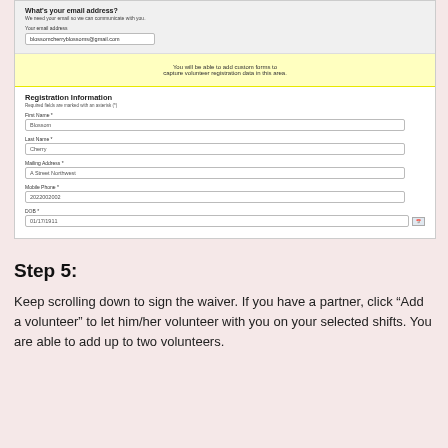[Figure (screenshot): Screenshot of a volunteer registration web form showing email address section with input 'blossomcherryblossoms@gmail.com', a yellow notice area saying 'You will be able to add custom forms to capture volunteer registration data in this area.', and Registration Information fields: First Name (Blossom), Last Name (Cherry), Mailing Address (A Street Northwest), Mobile Phone (2022002002), DOB (01/17/1911)]
Step 5:
Keep scrolling down to sign the waiver. If you have a partner, click “Add a volunteer” to let him/her volunteer with you on your selected shifts. You are able to add up to two volunteers.